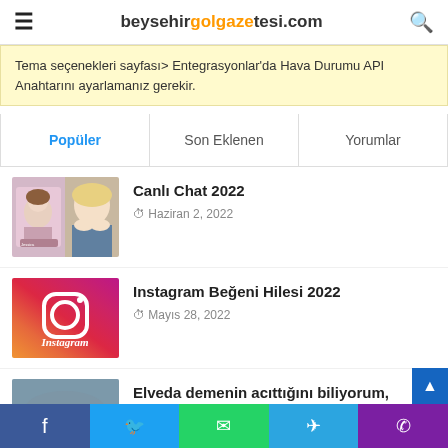beysehirgolgazetesi.com
Tema seçenekleri sayfası> Entegrasyonlar'da Hava Durumu API Anahtarını ayarlamanız gerekir.
Popüler | Son Eklenen | Yorumlar
Canlı Chat 2022 — Haziran 2, 2022
Instagram Beğeni Hilesi 2022 — Mayıs 28, 2022
Elveda demenin acıttığını biliyorum,